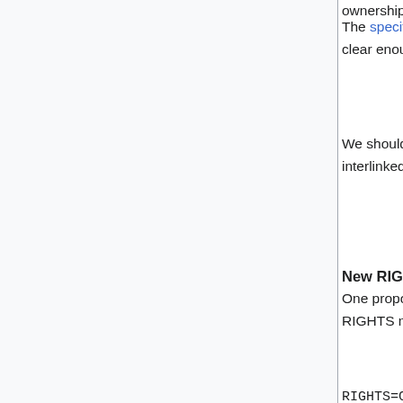ownership ).
The specification document describes LICENSE and COPYRIGHT fields. But is not clear enough about whether these should be machine-readable.
We should consider working together with Creative Commons to have complementary and interlinked information on the CC and Xiph wikis. Refer to the Ogg page in the CC wiki.
New RIGHTS field name proposal
One proposal is to replace the COPYRIGHT and LICENSE field names with RIGHTS. RIGHTS must be a human-readable copyright statement. Basic example:
RIGHTS=Copyright © Recording Company Inc. All distribution rights reserved.